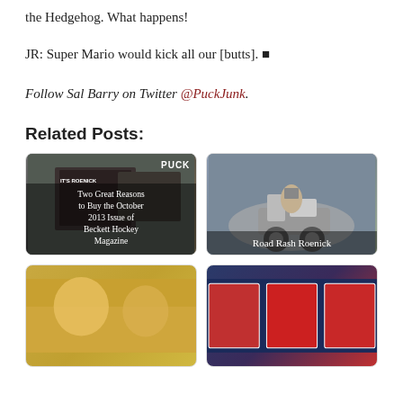the Hedgehog. What happens!
JR: Super Mario would kick all our [butts]. ■
Follow Sal Barry on Twitter @PuckJunk.
Related Posts:
[Figure (photo): Hockey magazine cover - Two Great Reasons to Buy the October 2013 Issue of Beckett Hockey Magazine]
[Figure (photo): Man on motorcycle - Road Rash Roenick]
[Figure (photo): Bottom left related post image]
[Figure (photo): Bottom right related post - hockey cards]